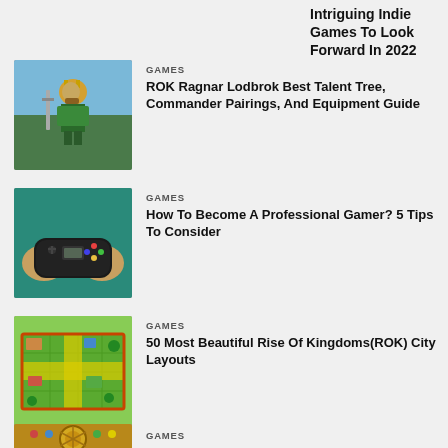Intriguing Indie Games To Look Forward In 2022
GAMES
ROK Ragnar Lodbrok Best Talent Tree, Commander Pairings, And Equipment Guide
[Figure (photo): Fantasy warrior character with sword and shield]
GAMES
How To Become A Professional Gamer? 5 Tips To Consider
[Figure (photo): Person holding a mobile gaming controller]
GAMES
50 Most Beautiful Rise Of Kingdoms(ROK) City Layouts
[Figure (photo): Rise of Kingdoms city layout overhead view]
GAMES
[Figure (photo): Board game with golden wheel design]